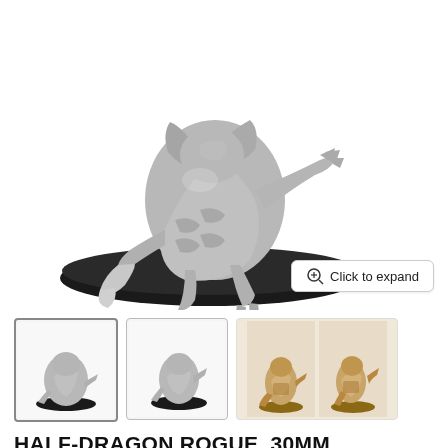[Figure (photo): Close-up photo of a silver/metal half-dragon rogue miniature figurine on a black oval base, shown from a low angle. The figure is a crouching reptilian humanoid with armor and a curved blade weapon.]
Click to expand
[Figure (photo): Thumbnail 1: Same silver metal half-dragon rogue miniature on black base, front/side view (selected state with border).]
[Figure (photo): Thumbnail 2: Silver metal half-dragon rogue miniature on black base, slightly different angle.]
[Figure (photo): Thumbnail pair 3 & 4: Two painted (tan/brown) half-dragon rogue miniatures side by side on brown bases.]
HALF-DRAGON ROGUE, 30MM
$14.99
SKU SH0142